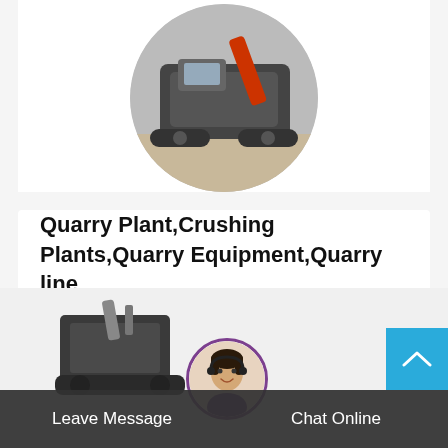[Figure (photo): Circular cropped image of a crushing/quarry machine on a job site]
Quarry Plant,Crushing Plants,Quarry Equipment,Quarry line
Crushing plants--Zhengzhou Yifan Machinery Co. Ltd. Zhengzhou YiFan Machinery Co.,Ltd is a famous manufacturer ofcrushingand screening...
Read More →
[Figure (photo): Partial view of crushing machine equipment at bottom left]
[Figure (photo): Circular avatar of a customer service representative with headset]
Leave Message
Chat Online